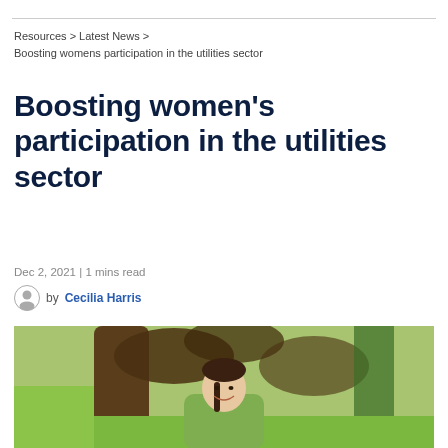Resources > Latest News >
Boosting womens participation in the utilities sector
Boosting women's participation in the utilities sector
Dec 2, 2021 | 1 mins read
by Cecilia Harris
[Figure (photo): Young woman smiling outdoors in front of a large tree, wearing a light green jacket. Green grass and foliage visible in the background.]